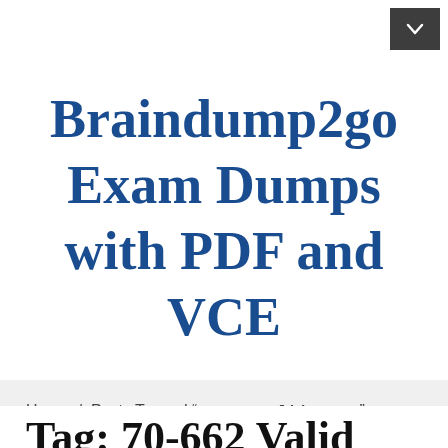Braindump2go Exam Dumps with PDF and VCE
Home / Posts Tagged "70-662 Valid Dumps"
Tag: 70-662 Valid